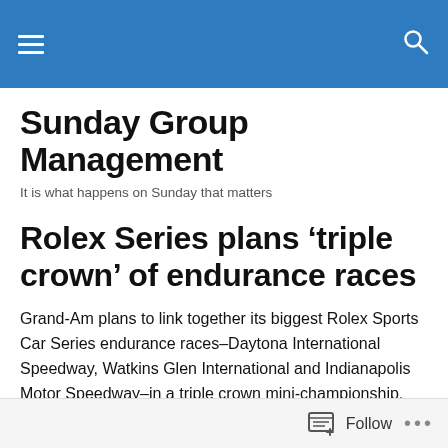Sunday Group Management [navigation bar with hamburger menu and search icon]
Sunday Group Management
It is what happens on Sunday that matters
Rolex Series plans ‘triple crown’ of endurance races
Grand-Am plans to link together its biggest Rolex Sports Car Series endurance races–Daytona International Speedway, Watkins Glen International and Indianapolis Motor Speedway–in a triple crown mini-championship, perhaps as early as 2012.
Follow •••